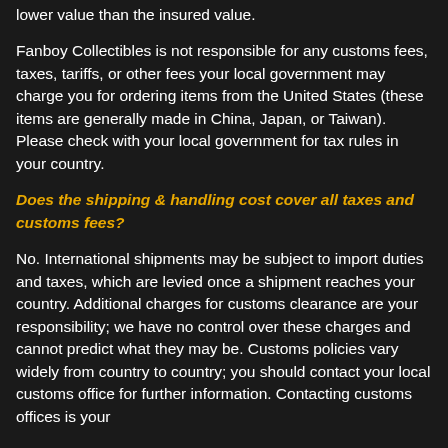lower value than the insured value.
Fanboy Collectibles is not responsible for any customs fees, taxes, tariffs, or other fees your local government may charge you for ordering items from the United States (these items are generally made in China, Japan, or Taiwan). Please check with your local government for tax rules in your country.
Does the shipping & handling cost cover all taxes and customs fees?
No. International shipments may be subject to import duties and taxes, which are levied once a shipment reaches your country. Additional charges for customs clearance are your responsibility; we have no control over these charges and cannot predict what they may be. Customs policies vary widely from country to country; you should contact your local customs office for further information. Contacting customs offices is your